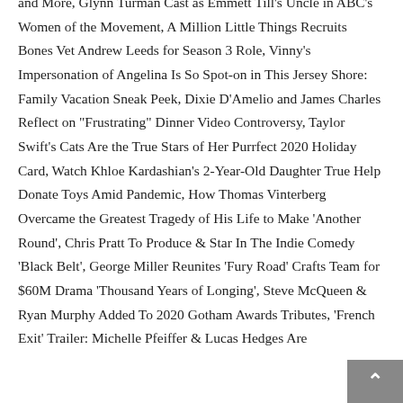and More, Glynn Turman Cast as Emmett Till's Uncle in ABC's Women of the Movement, A Million Little Things Recruits Bones Vet Andrew Leeds for Season 3 Role, Vinny's Impersonation of Angelina Is So Spot-on in This Jersey Shore: Family Vacation Sneak Peek, Dixie D'Amelio and James Charles Reflect on "Frustrating" Dinner Video Controversy, Taylor Swift's Cats Are the True Stars of Her Purrfect 2020 Holiday Card, Watch Khloe Kardashian's 2-Year-Old Daughter True Help Donate Toys Amid Pandemic, How Thomas Vinterberg Overcame the Greatest Tragedy of His Life to Make 'Another Round', Chris Pratt To Produce & Star In The Indie Comedy 'Black Belt', George Miller Reunites 'Fury Road' Crafts Team for $60M Drama 'Thousand Years of Longing', Steve McQueen & Ryan Murphy Added To 2020 Gotham Awards Tributes, 'French Exit' Trailer: Michelle Pfeiffer & Lucas Hedges Are